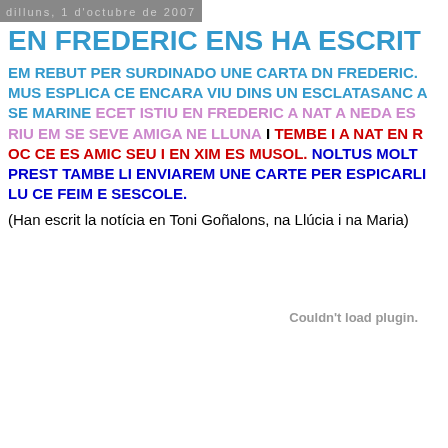dilluns, 1 d'octubre de 2007
EN FREDERIC ENS HA ESCRIT
EM REBUT PER SURDINADO UNE CARTA DN FREDERIC. MUS ESPLICA CE ENCARA VIU DINS UN ESCLATASANC A SE MARINE ECET ISTIU EN FREDERIC A NAT A NEDA ES RIU EM SE SEVE AMIGA NE LLUNA I TEMBE I A NAT EN R OC CE ES AMIC SEU I EN XIM ES MUSOL. NOLTUS MOLT PREST TAMBE LI ENVIAREM UNE CARTE PER ESPICARLI LU CE FEIM E SESCOLE.
(Han escrit la notícia en Toni Goñalons, na Llúcia i na Maria)
Couldn't load plugin.